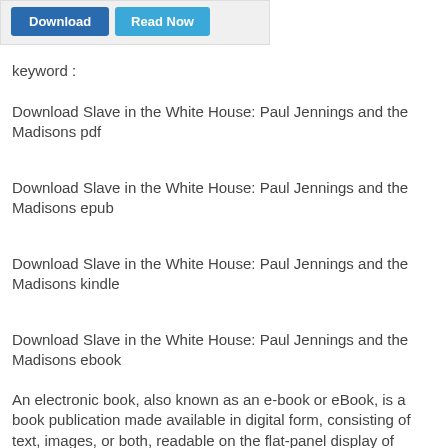[Figure (screenshot): Two buttons: 'Download' (dark blue) and 'Read Now' (light blue) inside a light grey bordered box]
keyword :
Download Slave in the White House: Paul Jennings and the Madisons pdf
Download Slave in the White House: Paul Jennings and the Madisons epub
Download Slave in the White House: Paul Jennings and the Madisons kindle
Download Slave in the White House: Paul Jennings and the Madisons ebook
An electronic book, also known as an e-book or eBook, is a book publication made available in digital form, consisting of text, images, or both, readable on the flat-panel display of computers or other electronic devices